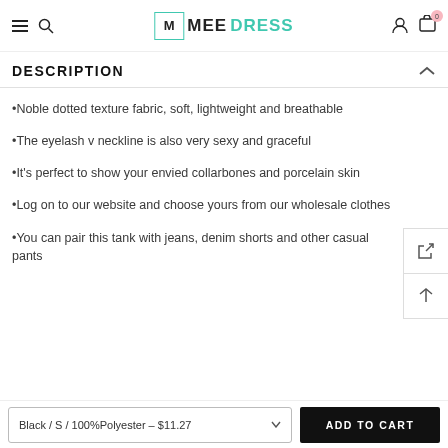MEEDRESS - navigation header with hamburger, search, logo, user, and cart icons
DESCRIPTION
•Noble dotted texture fabric, soft, lightweight and breathable
•The eyelash v neckline is also very sexy and graceful
•It's perfect to show your envied collarbones and porcelain skin
•Log on to our website and choose yours from our wholesale clothes
•You can pair this tank with jeans, denim shorts and other casual pants
Black / S / 100%Polyester - $11.27   ADD TO CART